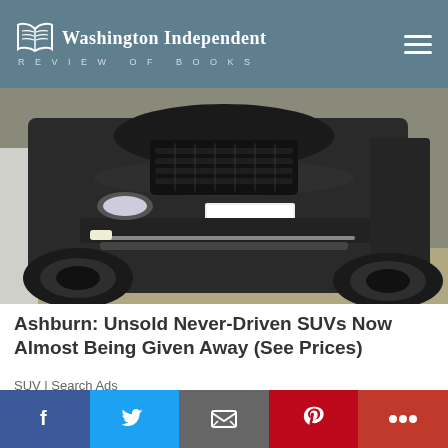Washington Independent REVIEW OF BOOKS
[Figure (photo): Front view of a dark grey/black Land Rover Range Rover Evoque SUV parked, showing front bumper, grille, headlights and wheel]
Ashburn: Unsold Never-Driven SUVs Now Almost Being Given Away (See Prices)
SUV | Search Ads